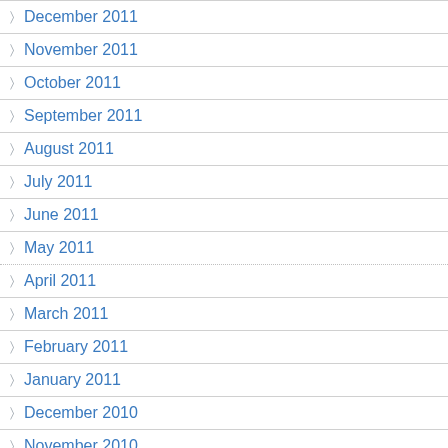December 2011
November 2011
October 2011
September 2011
August 2011
July 2011
June 2011
May 2011
April 2011
March 2011
February 2011
January 2011
December 2010
November 2010
October 2010
September 2010